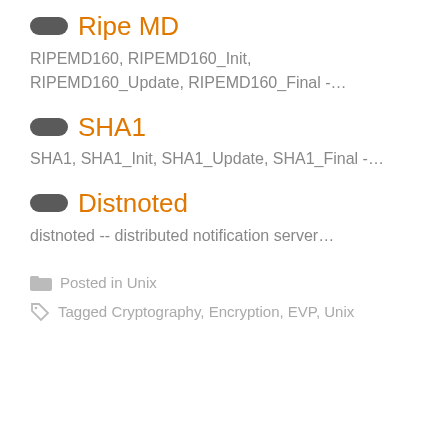Ripe MD
RIPEMD160, RIPEMD160_Init, RIPEMD160_Update, RIPEMD160_Final -…
SHA1
SHA1, SHA1_Init, SHA1_Update, SHA1_Final -…
Distnoted
distnoted -- distributed notification server…
Posted in Unix
Tagged Cryptography, Encryption, EVP, Unix